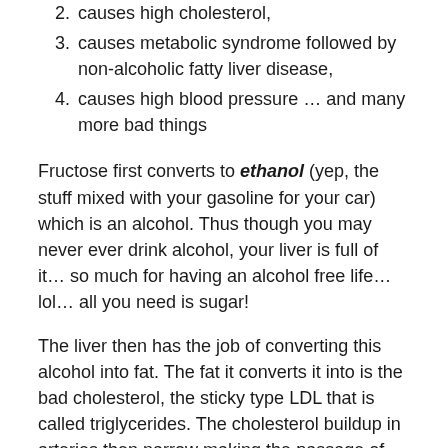2. causes high cholesterol,
3. causes metabolic syndrome followed by non-alcoholic fatty liver disease,
4. causes high blood pressure … and many more bad things
Fructose first converts to ethanol (yep, the stuff mixed with your gasoline for your car) which is an alcohol. Thus though you may never ever drink alcohol, your liver is full of it… so much for having an alcohol free life… lol… all you need is sugar!
The liver then has the job of converting this alcohol into fat. The fat it converts it into is the bad cholesterol, the sticky type LDL that is called triglycerides. The cholesterol buildup in arteries then narrow making the passage of blood hard. This causes blockage that leads to heart attacks. This is all from the sugar you would drink a can…